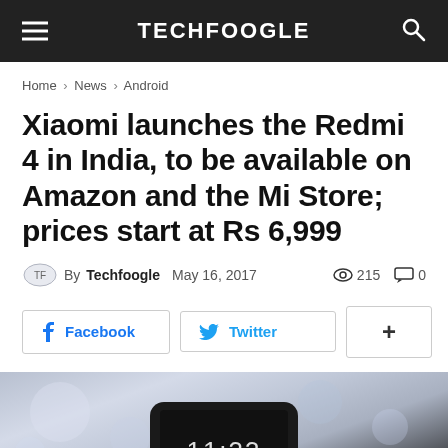TECHFOOGLE
Home › News › Android
Xiaomi launches the Redmi 4 in India, to be available on Amazon and the Mi Store; prices start at Rs 6,999
By Techfoogle   May 16, 2017   215   0
Facebook   Twitter   +
[Figure (photo): Photo of a smartphone (Redmi 4) displaying 11:33 on its screen, with a bokeh background]